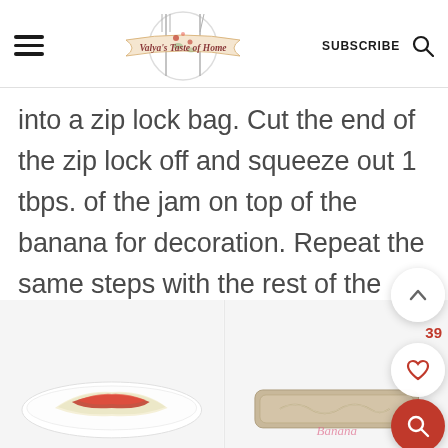Valya's Taste of Home — SUBSCRIBE
into a zip lock bag. Cut the end of the zip lock off and squeeze out 1 tbps. of the jam on top of the banana for decoration. Repeat the same steps with the rest of the ingredients.
[Figure (photo): Left photo: A white oval plate with a banana slice topped with red jam/strawberry preserve, on a white background]
[Figure (photo): Right photo: A decorative dish or item with embossed pattern on a white background, partially visible]